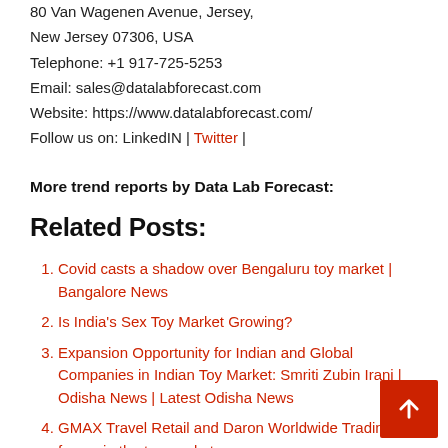80 Van Wagenen Avenue, Jersey,
New Jersey 07306, USA
Telephone: +1 917-725-5253
Email: sales@datalabforecast.com
Website: https://www.datalabforecast.com/
Follow us on: LinkedIN | Twitter |
More trend reports by Data Lab Forecast:
Related Posts:
Covid casts a shadow over Bengaluru toy market | Bangalore News
Is India's Sex Toy Market Growing?
Expansion Opportunity for Indian and Global Companies in Indian Toy Market: Smriti Zubin Irani | Odisha News | Latest Odisha News
GMAX Travel Retail and Daron Worldwide Trading join forces in the toy market